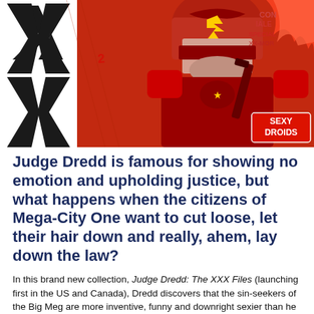[Figure (illustration): Comic book style illustration showing Judge Dredd in red armor holding a weapon, with a large black XX logo on the left side and 'SEXY DROIDS' text visible in the lower right. Red and black color scheme with comic lettering.]
Judge Dredd is famous for showing no emotion and upholding justice, but what happens when the citizens of Mega-City One want to cut loose, let their hair down and really, ahem, lay down the law?
In this brand new collection, Judge Dredd: The XXX Files (launching first in the US and Canada), Dredd discovers that the sin-seekers of the Big Meg are more inventive, funny and downright sexier than he could have imagined!